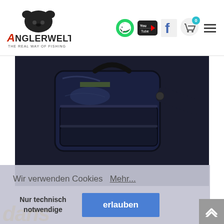[Figure (logo): Anglerwelt logo with bear and text 'THE REAL WAY OF FISHING']
[Figure (screenshot): Navigation icons: WhatsApp green circle, YouTube black rounded square, Facebook f icon, shopping cart with badge '0', hamburger menu]
[Figure (photo): Close-up photo of a dark blue/black fishing tackle bag with multiple compartments and shoulder strap]
Wir verwenden Cookies  Mehr...
Nur technisch notwendige
erlauben